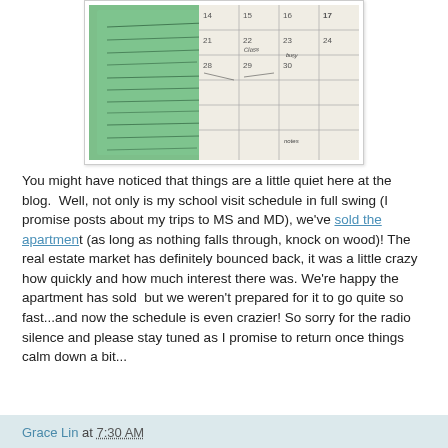[Figure (photo): A photo of a paper planner/calendar with handwritten notes on green sticky notes attached to the left side, and a weekly calendar spread on the right with handwritten entries.]
You might have noticed that things are a little quiet here at the blog.  Well, not only is my school visit schedule in full swing (I promise posts about my trips to MS and MD), we've sold the apartment (as long as nothing falls through, knock on wood)! The real estate market has definitely bounced back, it was a little crazy how quickly and how much interest there was. We're happy the apartment has sold  but we weren't prepared for it to go quite so fast...and now the schedule is even crazier! So sorry for the radio silence and please stay tuned as I promise to return once things calm down a bit...
Grace Lin at 7:30 AM